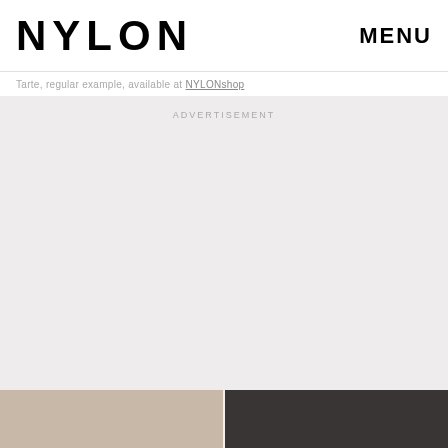NYLON   MENU
Tarte, regular example, available at NYLONshop
ADVERTISEMENT
[Figure (photo): Two partial portrait photos at bottom of page, left showing a lighter-toned face/skin, right showing a darker background portrait]